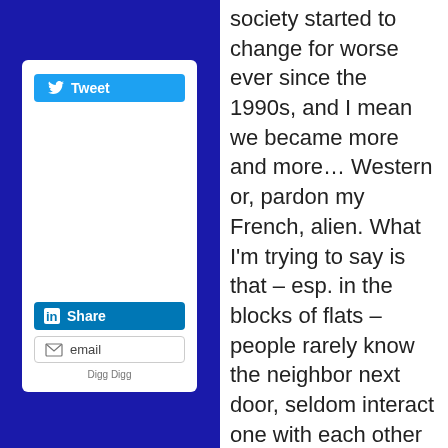[Figure (screenshot): Social sharing sidebar widget with Tweet button, LinkedIn Share button, email button, and Digg Digg label]
society started to change for worse ever since the 1990s, and I mean we became more and more… Western or, pardon my French, alien. What I'm trying to say is that – esp. in the blocks of flats – people rarely know the neighbor next door, seldom interact one with each other and so on. Consequently, one should not be afraid of being gay or having a same-sex household anymore. However, there is a good part of the "Americanization" of Romanian society, which consists in the fact that since the Romanian